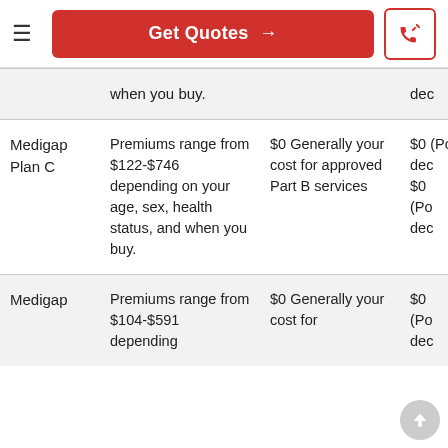Get Quotes →
| Plan | Premiums | Part B Cost | Deductible/Cost |
| --- | --- | --- | --- |
|  | when you buy. |  | dec |
| Medigap Plan C | Premiums range from $122-$746 depending on your age, sex, health status, and when you buy. | $0 Generally your cost for approved Part B services | $0 (Po dec $0 (Po dec |
| Medigap | Premiums range from $104-$591 depending | $0 Generally your cost for | $0 (Po dec $0 |